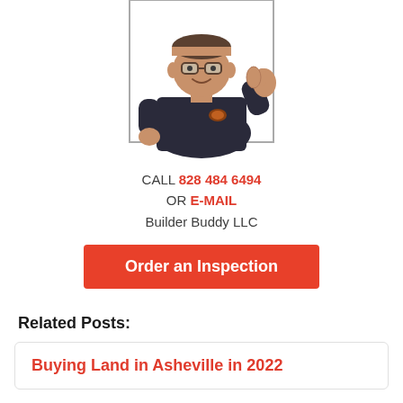[Figure (illustration): Cartoon mascot illustration of a man in a dark uniform giving a thumbs up, shown from the waist up inside a white rectangular border]
CALL 828 484 6494 OR E-MAIL Builder Buddy LLC
Order an Inspection
Related Posts:
Buying Land in Asheville in 2022